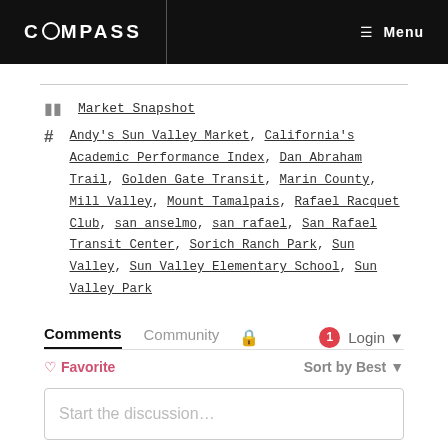COMPASS   Menu
Market Snapshot
Andy's Sun Valley Market, California's Academic Performance Index, Dan Abraham Trail, Golden Gate Transit, Marin County, Mill Valley, Mount Tamalpais, Rafael Racquet Club, san anselmo, san rafael, San Rafael Transit Center, Sorich Ranch Park, Sun Valley, Sun Valley Elementary School, Sun Valley Park
Comments   Community   [lock icon]   1   Login
Favorite   Sort by Best
Start the discussion...
LOG IN WITH